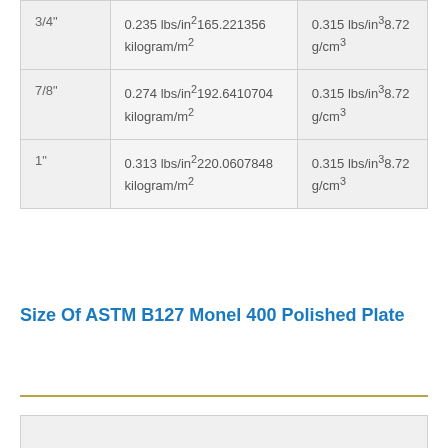| 3/4" | 0.235 lbs/in²165.221356 kilogram/m² | 0.315 lbs/in³8.72 g/cm³ |
| 7/8" | 0.274 lbs/in²192.6410704 kilogram/m² | 0.315 lbs/in³8.72 g/cm³ |
| 1" | 0.313 lbs/in²220.0607848 kilogram/m² | 0.315 lbs/in³8.72 g/cm³ |
Size Of ASTM B127 Monel 400 Polished Plate